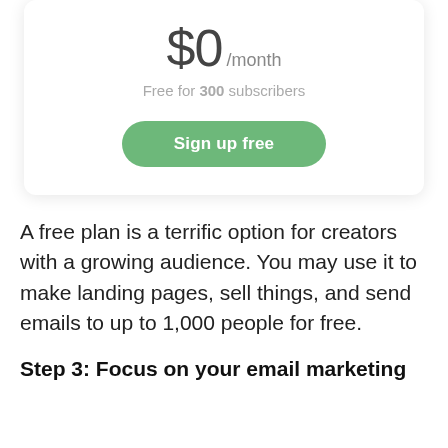$0 /month
Free for 300 subscribers
Sign up free
A free plan is a terrific option for creators with a growing audience. You may use it to make landing pages, sell things, and send emails to up to 1,000 people for free.
Step 3: Focus on your email marketing